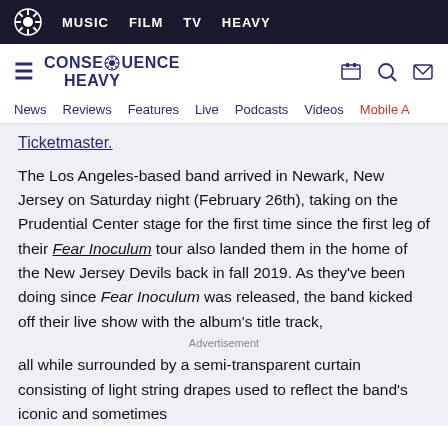MUSIC  FILM  TV  HEAVY
CONSEQUENCE HEAVY
News  Reviews  Features  Live  Podcasts  Videos  Mobile A
Ticketmaster.
The Los Angeles-based band arrived in Newark, New Jersey on Saturday night (February 26th), taking on the Prudential Center stage for the first time since the first leg of their Fear Inoculum tour also landed them in the home of the New Jersey Devils back in fall 2019. As they've been doing since Fear Inoculum was released, the band kicked off their live show with the album's title track, all while surrounded by a semi-transparent curtain consisting of light string drapes used to reflect the band's iconic and sometimes
Advertisement